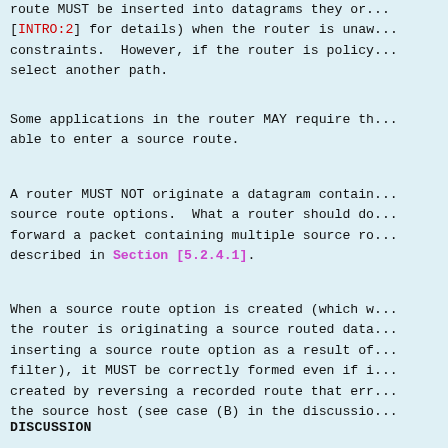route MUST be inserted into datagrams they or... [INTRO:2] for details) when the router is unaw... constraints.  However, if the router is policy... select another path.
Some applications in the router MAY require th... able to enter a source route.
A router MUST NOT originate a datagram contain... source route options.  What a router should do... forward a packet containing multiple source ro... described in Section [5.2.4.1].
When a source route option is created (which w... the router is originating a source routed data... inserting a source route option as a result of... filter), it MUST be correctly formed even if i... created by reversing a recorded route that err... the source host (see case (B) in the discussio...
DISCUSSION